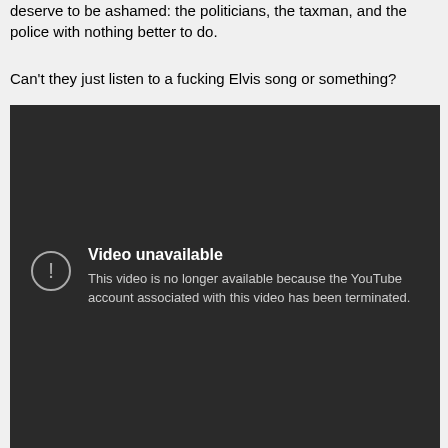deserve to be ashamed: the politicians, the taxman, and the police with nothing better to do.
Can't they just listen to a fucking Elvis song or something?
[Figure (screenshot): A dark YouTube video player showing an error message: 'Video unavailable. This video is no longer available because the YouTube account associated with this video has been terminated.']